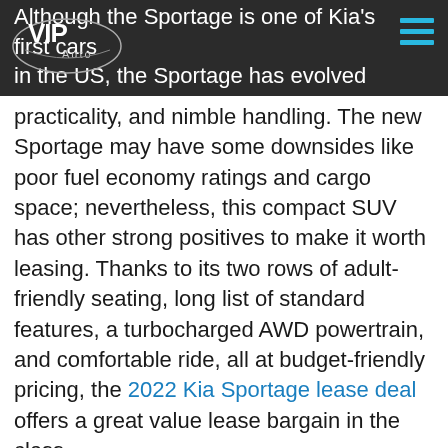Although the Sportage is one of Kia's first cars in the US, the Sportage has evolved over the years to a compact SUV that offers cool styling,
[Figure (logo): VIP Auto logo on dark background with hamburger menu icon in top right]
practicality, and nimble handling. The new Sportage may have some downsides like poor fuel economy ratings and cargo space; nevertheless, this compact SUV has other strong positives to make it worth leasing. Thanks to its two rows of adult-friendly seating, long list of standard features, a turbocharged AWD powertrain, and comfortable ride, all at budget-friendly pricing, the 2022 Kia Sportage lease deal offers a great value lease bargain in the class.
Engine And Performance